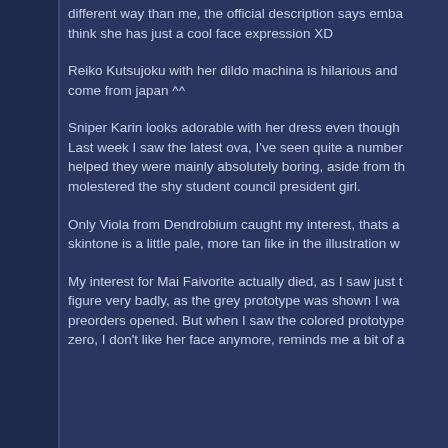different way than me, the official description says emba think she has just a cool face expression XD
Reiko Kutsujoku with her dildo machina is hilarious and come from japan ^^
Sniper Karin looks adorable with her dress even though Last week I saw the latest ova, I've seen quite a number helped they were mainly absolutely boring, aside from th molestered the shy student council president girl.
Only Viola from Dendrobium caught my interest, thats a skintone is a little pale, more tan like in the illustration w
My interest for Mai Faivorite actually died, as I saw just t figure very badly, as the grey prototype was shown I wa preorders opened. But when I saw the colored prototype zero, I don't like her face anymore, reminds me a bit of a